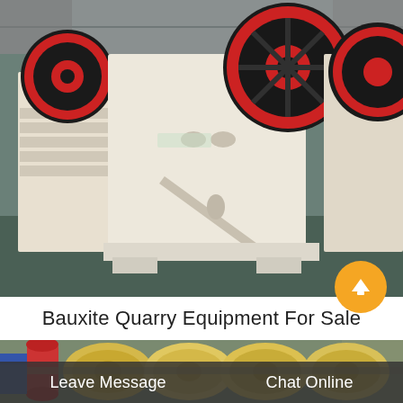[Figure (photo): Industrial jaw crusher machines in a factory floor. White painted heavy machinery with large red and black flywheels. Multiple units visible in an industrial warehouse setting.]
Bauxite Quarry Equipment For Sale
[Figure (photo): Close-up of crushing/grinding equipment with colorful rollers and wheels in yellow/cream and red colors, inside an industrial facility.]
Leave Message
Chat Online